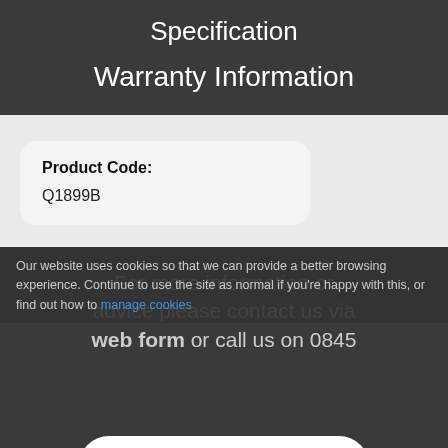Specification
Warranty Information
Product Code:
Q1899B
For more information or advice please contact us via web form or call us on 0845
Our website uses cookies so that we can provide a better browsing experience. Continue to use the site as normal if you're happy with this, or find out how to manage cookies
I'm happy with that. Hide this message.